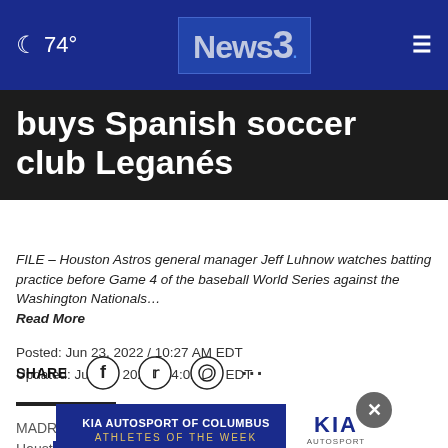74° News3. ☰
buys Spanish soccer club Leganés
FILE – Houston Astros general manager Jeff Luhnow watches batting practice before Game 4 of the baseball World Series against the Washington Nationals… Read More
Posted: Jun 23, 2022 / 10:27 AM EDT
Updated: Jun 25, 2022 / 04:02 PM EDT
SHARE
MADR... Houston Astros former... Houston... who demonstrate leadership, dedication...s